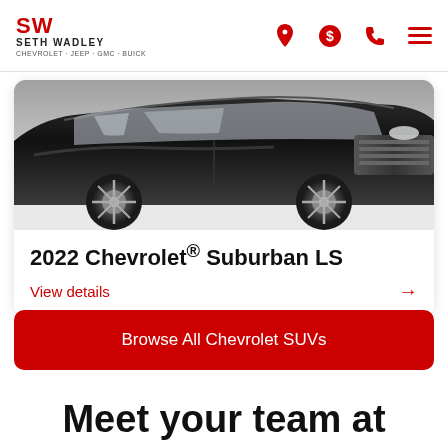Seth Wadley — SW logo with navigation icons
[Figure (photo): Front view of a black 2022 Chevrolet Suburban LS SUV, partially visible, angled shot showing front grille and wheels]
2022 Chevrolet® Suburban LS
View details →
Browse All Chevrolet SUVs
Meet your team at